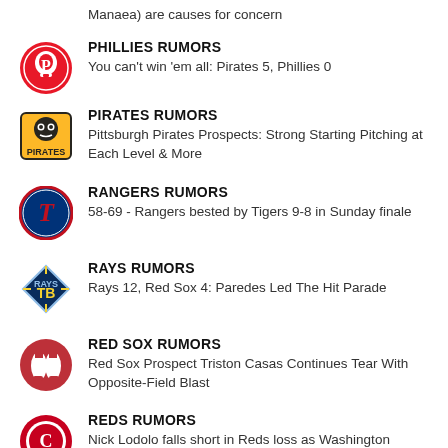Manaea) are causes for concern
PHILLIES RUMORS
You can't win 'em all: Pirates 5, Phillies 0
PIRATES RUMORS
Pittsburgh Pirates Prospects: Strong Starting Pitching at Each Level & More
RANGERS RUMORS
58-69 - Rangers bested by Tigers 9-8 in Sunday finale
RAYS RUMORS
Rays 12, Red Sox 4: Paredes Led The Hit Parade
RED SOX RUMORS
Red Sox Prospect Triston Casas Continues Tear With Opposite-Field Blast
REDS RUMORS
Nick Lodolo falls short in Reds loss as Washington Nationals end historic streak